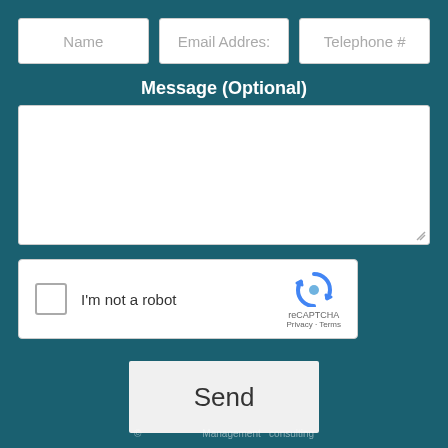Name
Email Address
Telephone #
Message (Optional)
[Figure (screenshot): Large white textarea input field for optional message]
[Figure (screenshot): reCAPTCHA widget with checkbox labeled I'm not a robot, reCAPTCHA logo, Privacy and Terms links]
Send